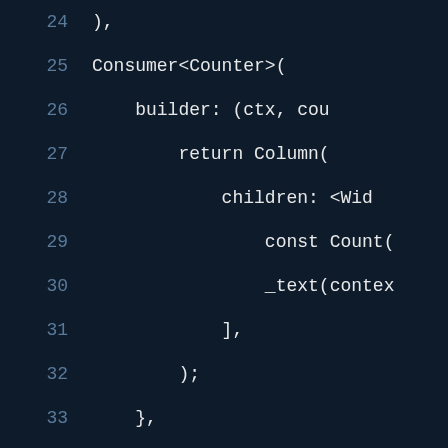24    ),
25    Consumer<Counter>(
26      builder: (ctx, cou
27        return Column(
28          children: <Wid
29            const Count(
30            _text(contex
31          ],
32        );
33      },
34    ),
35    Padding(padding: Edge
36    Text(
37      "Transformed Counte
38      style: Theme.of(co
39    ),
40    Consumer<Transform>(